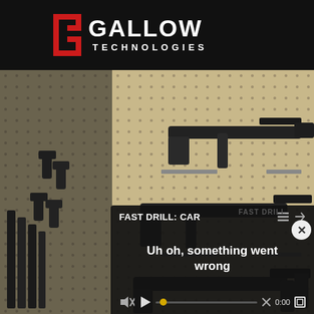[Figure (logo): Gallow Technologies logo — red G shield icon with white GALLOW TECHNOLOGIES text on black background]
[Figure (photo): Pegboard wall display with multiple AR-style rifles and handguns mounted on hooks and shelves in a gun store or armory]
FAST DRILL: CAR
Uh oh, something went wrong
0:00